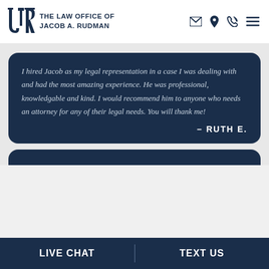THE LAW OFFICE OF JACOB A. RUDMAN
I hired Jacob as my legal representation in a case I was dealing with and had the most amazing experience. He was professional, knowledgable and kind. I would recommend him to anyone who needs an attorney for any of their legal needs. You will thank me! – RUTH E.
LIVE CHAT | TEXT US